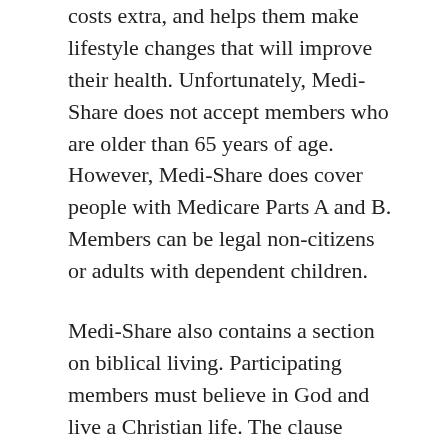costs extra, and helps them make lifestyle changes that will improve their health. Unfortunately, Medi-Share does not accept members who are older than 65 years of age. However, Medi-Share does cover people with Medicare Parts A and B. Members can be legal non-citizens or adults with dependent children.
Medi-Share also contains a section on biblical living. Participating members must believe in God and live a Christian life. The clause states that members will not abuse alcohol or drugs. Members must also abstain from smoking and illegal drugs. Luckily, Medi-Share does cover pregnancy and adoption. Pregnancy and adoption are covered as long as members make monthly contributions. If the member lives in a Christian home and follows the guidelines of the